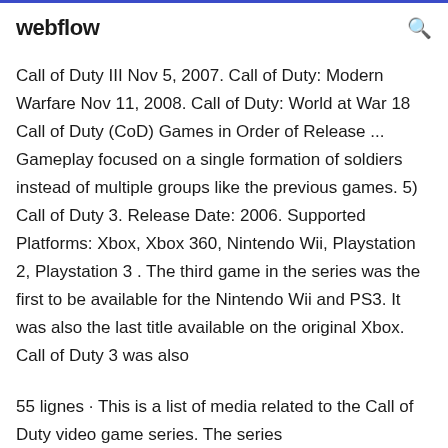webflow
Call of Duty III Nov 5, 2007. Call of Duty: Modern Warfare Nov 11, 2008. Call of Duty: World at War 18 Call of Duty (CoD) Games in Order of Release ... Gameplay focused on a single formation of soldiers instead of multiple groups like the previous games. 5) Call of Duty 3. Release Date: 2006. Supported Platforms: Xbox, Xbox 360, Nintendo Wii, Playstation 2, Playstation 3 . The third game in the series was the first to be available for the Nintendo Wii and PS3. It was also the last title available on the original Xbox. Call of Duty 3 was also
55 lignes · This is a list of media related to the Call of Duty video game series. The series